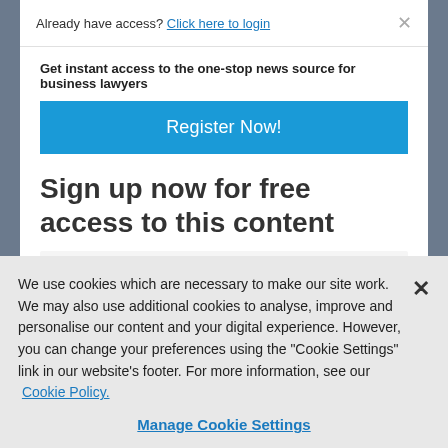Already have access? Click here to login
Get instant access to the one-stop news source for business lawyers
Register Now!
Sign up now for free access to this content
Email (NOTE: Free email domains not supported)
We use cookies which are necessary to make our site work. We may also use additional cookies to analyse, improve and personalise our content and your digital experience. However, you can change your preferences using the "Cookie Settings" link in our website's footer. For more information, see our Cookie Policy.
Manage Cookie Settings